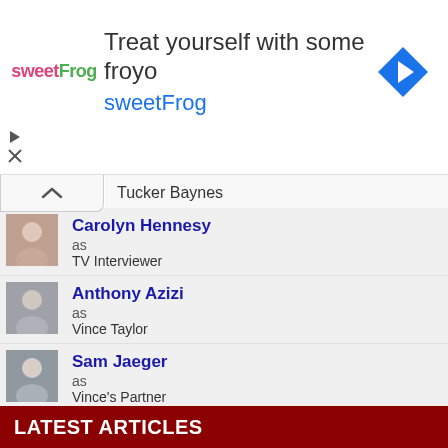[Figure (screenshot): Advertisement banner for sweetFrog frozen yogurt with logo, text 'Treat yourself with some froyo' and 'sweetFrog', and a Google Maps direction icon on the right.]
Tucker Baynes
Carolyn Hennesy as TV Interviewer
Anthony Azizi as Vince Taylor
Sam Jaeger as Vince's Partner
Peter Coyote as Warren Keaton
LATEST ARTICLES